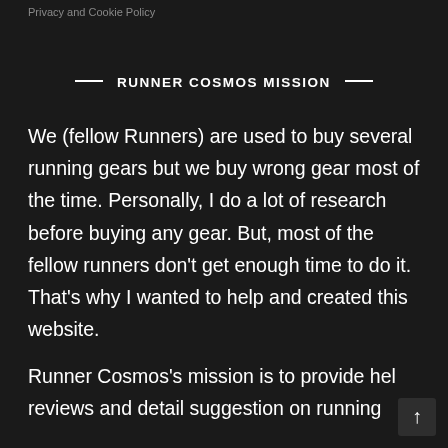Privacy and Cookie Policy
— RUNNER COSMOS MISSION —
We (fellow Runners) are used to buy several running gears but we buy wrong gear most of the time. Personally, I do a lot of research before buying any gear. But, most of the fellow runners don't get enough time to do it. That's why I wanted to help and created this website.
Runner Cosmos's mission is to provide hel reviews and detail suggestion on running